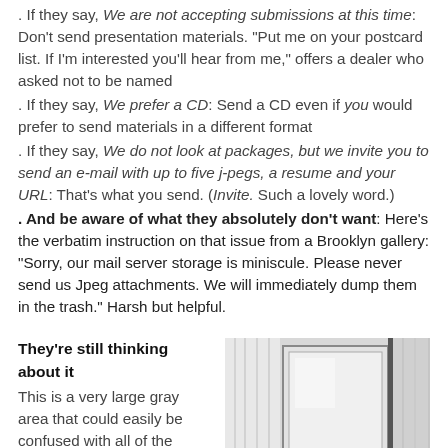. If they say, We are not accepting submissions at this time: Don't send presentation materials. "Put me on your postcard list. If I'm interested you'll hear from me," offers a dealer who asked not to be named
. If they say, We prefer a CD: Send a CD even if you would prefer to send materials in a different format
. If they say, We do not look at packages, but we invite you to send an e-mail with up to five j-pegs, a resume and your URL: That's what you send. (Invite. Such a lovely word.)
. And be aware of what they absolutely don't want: Here's the verbatim instruction on that issue from a Brooklyn gallery: "Sorry, our mail server storage is miniscule. Please never send us Jpeg attachments. We will immediately dump them in the trash." Harsh but helpful.
They're still thinking about it
This is a very large gray area that could easily be confused with all of the above, but assuming you did submit materials in the
[Figure (photo): Interior room photo showing a framed artwork or mirror on a light-colored wall, with fabric/curtains visible and a small lamp or fixture on the right side.]